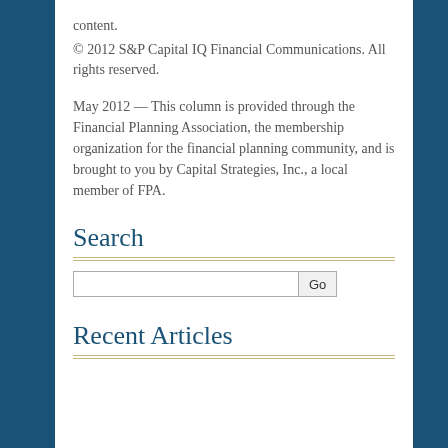content.
© 2012 S&P Capital IQ Financial Communications. All rights reserved.
May 2012 — This column is provided through the Financial Planning Association, the membership organization for the financial planning community, and is brought to you by Capital Strategies, Inc., a local member of FPA.
Search
Recent Articles